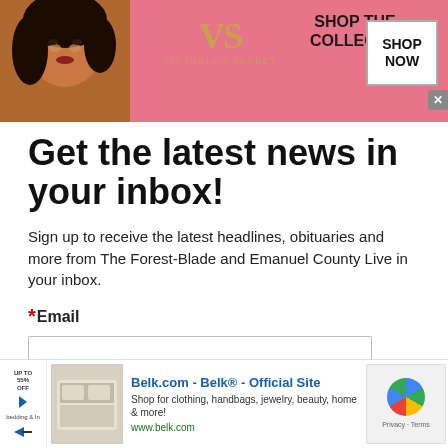[Figure (infographic): Victoria's Secret advertisement banner with model, VS logo, 'SHOP THE COLLECTION' text, and 'SHOP NOW' button on pink background]
Get the latest news in your inbox!
Sign up to receive the latest headlines, obituaries and more from The Forest-Blade and Emanuel County Live in your inbox.
*Email
[Figure (infographic): Belk.com advertisement banner with product thumbnail, title 'Belk.com - Belk® - Official Site', description 'Shop for clothing, handbags, jewelry, beauty, home & more!', URL 'www.belk.com', and reCAPTCHA logo]